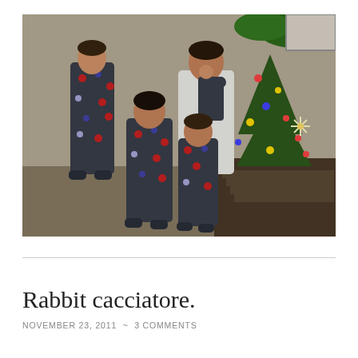[Figure (photo): Family photo of three adults wearing matching dark grey Christmas-light patterned footed onesie pajamas and one adult in a white shirt holding a baby also in a matching onesie, standing near a decorated Christmas tree with lights indoors.]
Rabbit cacciatore.
NOVEMBER 23, 2011 ~ 3 COMMENTS